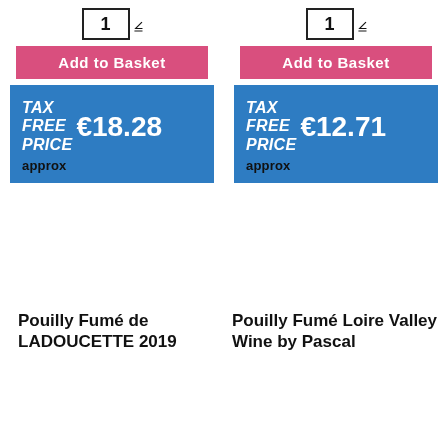[Figure (screenshot): Quantity selector showing '1' with dropdown arrow, left column]
[Figure (screenshot): Quantity selector showing '1' with dropdown arrow, right column]
Add to Basket
Add to Basket
TAX FREE PRICE €18.28 approx
TAX FREE PRICE €12.71 approx
Pouilly Fumé de LADOUCETTE 2019
Pouilly Fumé Loire Valley Wine by Pascal